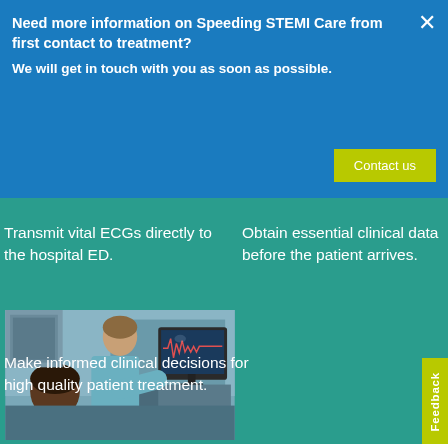Need more information on Speeding STEMI Care from first contact to treatment?
We will get in touch with you as soon as possible.
Contact us
Transmit vital ECGs directly to the hospital ED.
Obtain essential clinical data before the patient arrives.
[Figure (photo): Two medical professionals, one leaning over the other, examining an ECG waveform on a computer monitor in a clinical setting.]
Make informed clinical decisions for high quality patient treatment.
Feedback